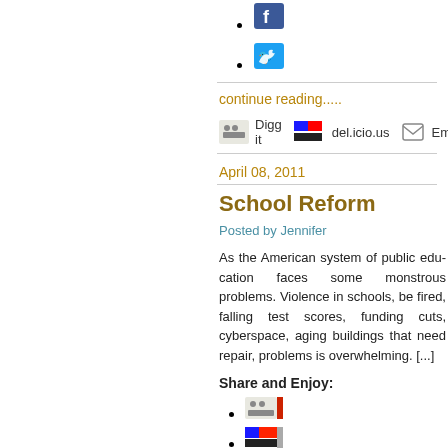[Facebook icon]
[Twitter icon]
continue reading.....
Digg it   del.icio.us   Em[ail]
April 08, 2011
School Reform
Posted by Jennifer
As the American system of public edu[cation faces] some monstrous problems. Violence i[n schools,] be fired, falling test scores, funding cu[ts,] cyberspace, aging buildings that nee[d repair,] problems is overwhelming. [...]
Share and Enjoy:
[Digg icon]
[del.icio.us icon]
[Email icon]